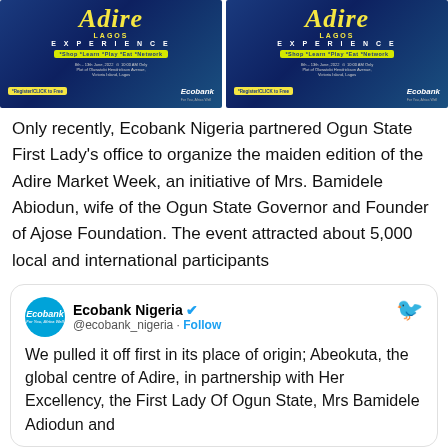[Figure (photo): Two side-by-side promotional banners for the Adire Lagos Experience event, featuring Ecobank branding on a blue background with yellow/gold text styling.]
Only recently, Ecobank Nigeria partnered Ogun State First Lady's office to organize the maiden edition of the Adire Market Week, an initiative of Mrs. Bamidele Abiodun, wife of the Ogun State Governor and Founder of Ajose Foundation. The event attracted about 5,000 local and international participants
[Figure (screenshot): Twitter/X post by Ecobank Nigeria (@ecobank_nigeria) with verified badge and Follow button. Tweet reads: 'We pulled it off first in its place of origin; Abeokuta, the global centre of Adire, in partnership with Her Excellency, the First Lady Of Ogun State, Mrs Bamidele Adiodun and']